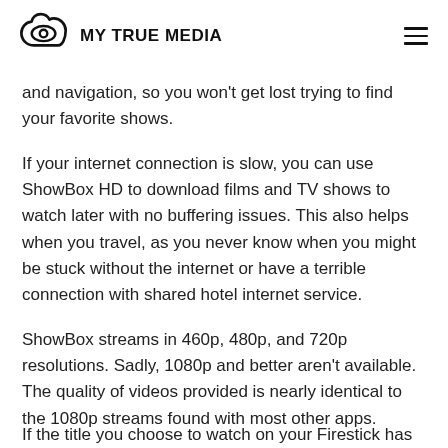MY TRUE MEDIA
In addition, you can add streaming videos to a list so new episodes come available. Show Box also has a very easy-to-use interface and navigation, so you won't get lost trying to find your favorite shows.
If your internet connection is slow, you can use ShowBox HD to download films and TV shows to watch later with no buffering issues. This also helps when you travel, as you never know when you might be stuck without the internet or have a terrible connection with shared hotel internet service.
ShowBox streams in 460p, 480p, and 720p resolutions. Sadly, 1080p and better aren't available. The quality of videos provided is nearly identical to the 1080p streams found with most other apps.
If the title you choose to watch on your Firestick has